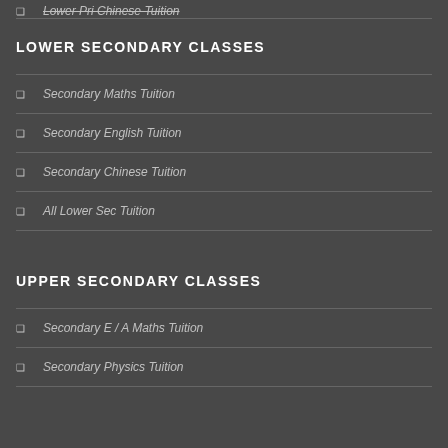Lower Pri Chinese Tuition
LOWER SECONDARY CLASSES
Secondary Maths Tuition
Secondary English Tuition
Secondary Chinese Tuition
All Lower Sec Tuition
UPPER SECONDARY CLASSES
Secondary E / A Maths Tuition
Secondary Physics Tuition